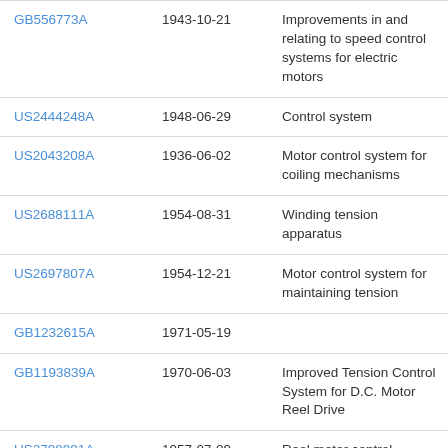| GB556773A | 1943-10-21 | Improvements in and relating to speed control systems for electric motors |
| US2444248A | 1948-06-29 | Control system |
| US2043208A | 1936-06-02 | Motor control system for coiling mechanisms |
| US2688111A | 1954-08-31 | Winding tension apparatus |
| US2697807A | 1954-12-21 | Motor control system for maintaining tension |
| GB1232615A | 1971-05-19 |  |
| GB1193839A | 1970-06-03 | Improved Tension Control System for D.C. Motor Reel Drive |
| US2798991A | 1957-07-09 | Reel motor control systems |
| US1989523A | 1935-01-29 | Control system |
| GB1026319A | 1966-04-20 | Improvements in d.c. series |